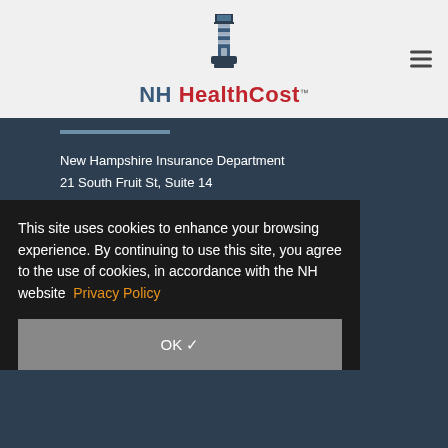[Figure (logo): NH HealthCost lighthouse logo with text 'NH HealthCost TM']
New Hampshire Insurance Department
21 South Fruit St, Suite 14
Concord, NH 03301
(603) 271-2261 or 1-800-852-3416
This site uses cookies to enhance your browsing experience. By continuing to use this site, you agree to the use of cookies, in accordance with the NH website Privacy Policy
This website was developed by the New Hampshire Insurance Department and the University of New Hampshire Mobile Development team and is maintained by the Department in cooperation with
OK ✓